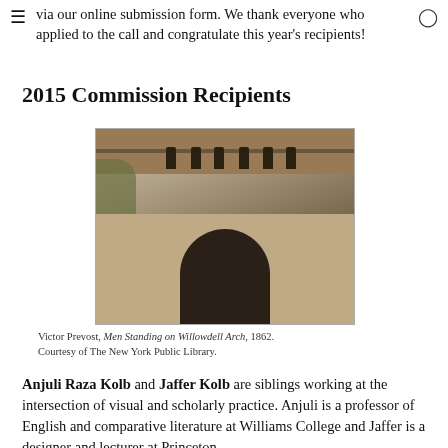via our online submission form. We thank everyone who applied to the call and congratulate this year's recipients!
2015 Commission Recipients
[Figure (photo): Sepia photograph of men standing on a stone bridge arch (Willowdell Arch) with ivy on the left side, circa 1862.]
Victor Prevost, Men Standing on Willowdell Arch, 1862. Courtesy of The New York Public Library.
Anjuli Raza Kolb and Jaffer Kolb are siblings working at the intersection of visual and scholarly practice. Anjuli is a professor of English and comparative literature at Williams College and Jaffer is a designer and lecturer at Princeton